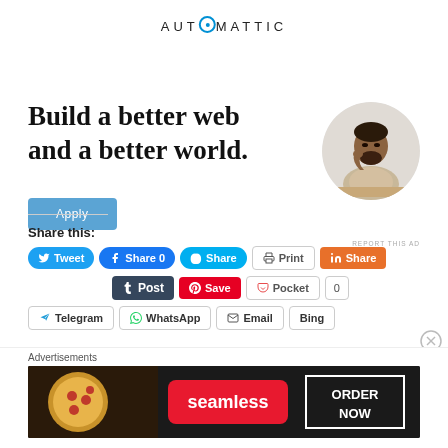[Figure (logo): Automattic logo — wordmark with circular O glyph and dot inside]
[Figure (infographic): Automattic ad banner: headline 'Build a better web and a better world.' with blue Apply button and circular photo of a man thinking at a desk. 'REPORT THIS AD' text below.]
Share this:
Tweet | Share 0 | Share | Print | Share | Post | Save | Pocket | 0 | Telegram | WhatsApp | Email | Bing
Advertisements
[Figure (infographic): Seamless food delivery advertisement banner: pizza image on left, 'seamless' red logo in center, 'ORDER NOW' button on right, dark background.]